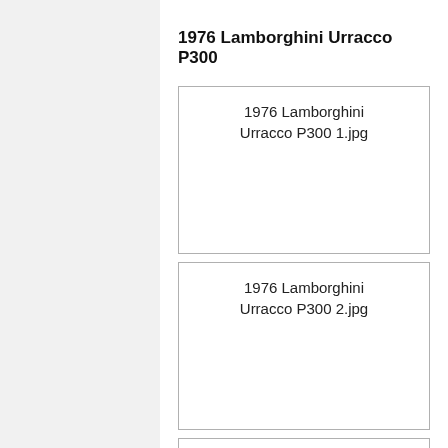1976 Lamborghini Urracco P300
[Figure (photo): Placeholder image box labeled '1976 Lamborghini Urracco P300 1.jpg']
[Figure (photo): Placeholder image box labeled '1976 Lamborghini Urracco P300 2.jpg']
[Figure (photo): Placeholder image box labeled '1976 Lamborghini Urracco P300 3.jpg']